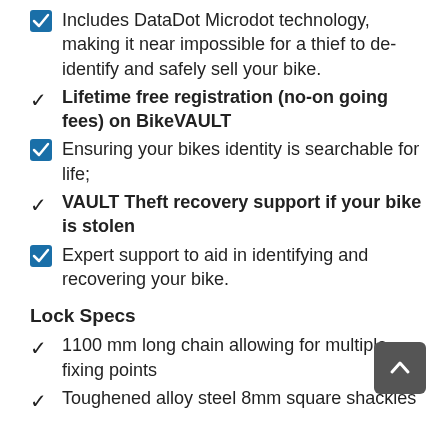Includes DataDot Microdot technology, making it near impossible for a thief to de-identify and safely sell your bike.
Lifetime free registration (no-on going fees) on BikeVAULT
Ensuring your bikes identity is searchable for life;
VAULT Theft recovery support if your bike is stolen
Expert support to aid in identifying and recovering your bike.
Lock Specs
1100 mm long chain allowing for multiple fixing points
Toughened alloy steel 8mm square shackles